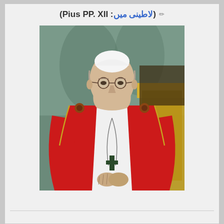(لاطینی میں: Pius PP. XII)
[Figure (photo): Portrait of Pope Pius XII wearing red papal vestments with gold trim and a pectoral cross on a chain, white skullcap, round glasses, hands folded, seated in front of a tapestry background.]